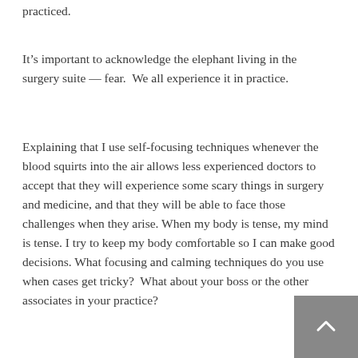practiced.
It’s important to acknowledge the elephant living in the surgery suite — fear.  We all experience it in practice.
Explaining that I use self-focusing techniques whenever the blood squirts into the air allows less experienced doctors to accept that they will experience some scary things in surgery and medicine, and that they will be able to face those challenges when they arise. When my body is tense, my mind is tense. I try to keep my body comfortable so I can make good decisions. What focusing and calming techniques do you use when cases get tricky?  What about your boss or the other associates in your practice?